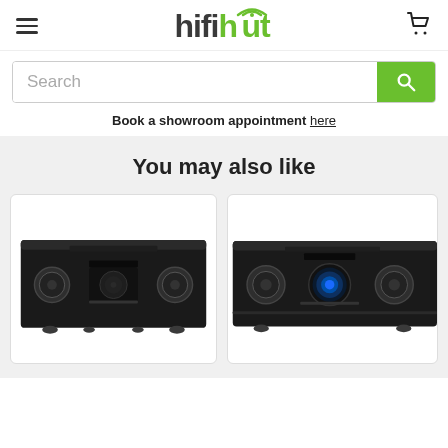hifihut
Search
Book a showroom  appointment here
You may also like
[Figure (photo): Black Marantz AV receiver with two large knobs and a central display/disc mechanism, front view on white background]
[Figure (photo): Black Marantz AV receiver with two large knobs, blue-lit central circular display, front view on white background]